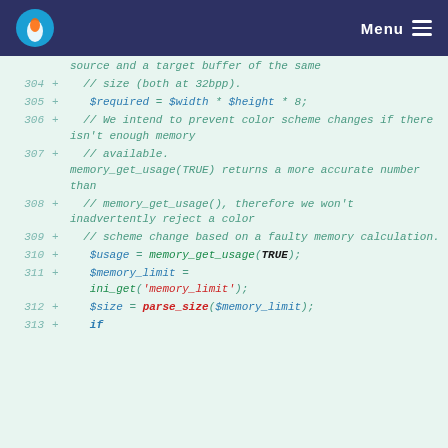Menu
[Figure (screenshot): Code diff view showing PHP code lines 304-313 with line numbers, plus signs, and syntax-highlighted code on a light green background. Lines show memory calculation logic including $required, $usage, $memory_limit, $size = parse_size($memory_limit), and if statement.]